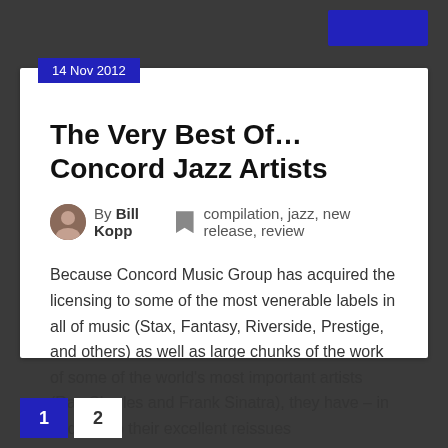14 Nov 2012
The Very Best Of…Concord Jazz Artists
By Bill Kopp  compilation, jazz, new release, review
Because Concord Music Group has acquired the licensing to some of the most venerable labels in all of music (Stax, Fantasy, Riverside, Prestige, and others) as well as large chunks of the work of some of the world's most important artists (Ray Charles and Frank Sinatra), they have – in addition to their excellent reissues
Read More
1  2